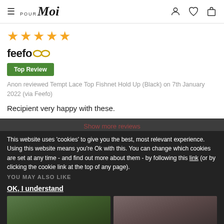Pour Moi — navigation header with hamburger menu, logo, and icons
[Figure (infographic): Five gold star rating]
[Figure (logo): Feefo logo with glasses icon]
Top Review
Anon reviewed Tempt Lace Top Fishnet Hold Up (Black) on 7th January 2022 (via Feefo)
Recipient very happy with these.
Show more reviews
This website uses 'cookies' to give you the best, most relevant experience. Using this website means you're Ok with this. You can change which cookies are set at any time - and find out more about them - by following this link (or by clicking the cookie link at the top of any page).
YOU MAY ALSO LIKE
OK, I understand
[Figure (photo): Two product images showing lingerie items on models, partially visible at bottom of page]